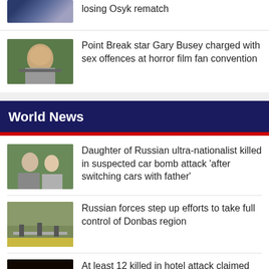[Figure (photo): Partial image at top, people with colorful background]
losing Osyk rematch
[Figure (photo): Gary Busey laughing at an event wearing a badge]
Point Break star Gary Busey charged with sex offences at horror film fan convention
World News
[Figure (photo): Elderly man and young woman posing together outdoors]
Daughter of Russian ultra-nationalist killed in suspected car bomb attack 'after switching cars with father'
[Figure (photo): Soldiers on a road, military scene]
Russian forces step up efforts to take full control of Donbas region
[Figure (photo): Fire and smoke at night, hotel attack scene]
At least 12 killed in hotel attack claimed by al Shabaab